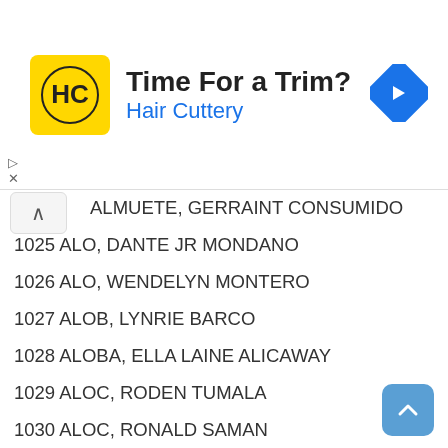[Figure (other): Hair Cuttery advertisement banner with logo, 'Time For a Trim?' headline, and navigation arrow icon]
ALMUETE, GERRAINT CONSUMIDO
1025 ALO, DANTE JR MONDANO
1026 ALO, WENDELYN MONTERO
1027 ALOB, LYNRIE BARCO
1028 ALOBA, ELLA LAINE ALICAWAY
1029 ALOC, RODEN TUMALA
1030 ALOC, RONALD SAMAN
1031 ALOD, ROELLA MAE TUDIAS
1032 ALODA, GRETCHEN OYAMMI
1033 ALOG, MARY ANTONETTE VASQUEZ
1034 ALOG, SHERYL DAZA
1035 ALOJADO, ANGELICA CAMPOS
1036 ALOJADO, NANETTE ESPEJA
1037 ALOJADO, TEDDY EBRO
1038 ALOLOR, ARLENE FELIPE
1039 ALOLOR, KRISTY JANE INOT
1040 ALOMIA, ANGELICA FR...